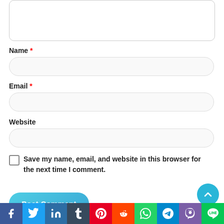Name *
Email *
Website
Save my name, email, and website in this browser for the next time I comment.
Post Comment
[Figure (other): Social media share bar with icons for Facebook, Twitter, LinkedIn, Tumblr, Pinterest, Reddit, WhatsApp, Telegram, Viber, Line]